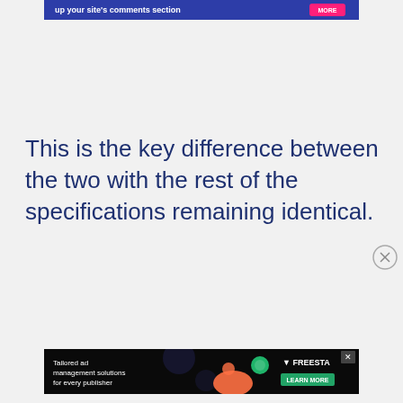[Figure (screenshot): Top banner advertisement with dark blue background showing text 'up your site's comments section' and a pink 'MORE' button]
This is the key difference between the two with the rest of the specifications remaining identical.
[Figure (screenshot): Close/dismiss circular button with X icon]
[Figure (screenshot): Bottom banner advertisement for Freestar: 'Tailored ad management solutions for every publisher' with LEARN MORE button and X close button]